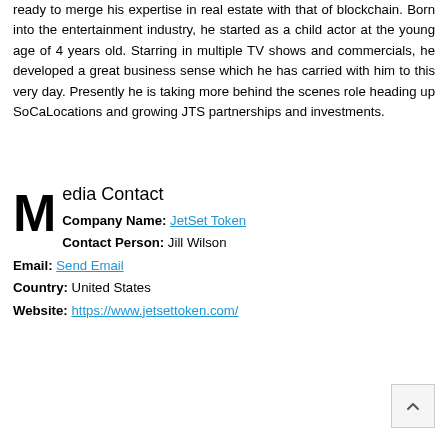ready to merge his expertise in real estate with that of blockchain. Born into the entertainment industry, he started as a child actor at the young age of 4 years old. Starring in multiple TV shows and commercials, he developed a great business sense which he has carried with him to this very day. Presently he is taking more behind the scenes role heading up SoCaLocations and growing JTS partnerships and investments.
Media Contact
Company Name: JetSet Token
Contact Person: Jill Wilson
Email: Send Email
Country: United States
Website: https://www.jetsettoken.com/